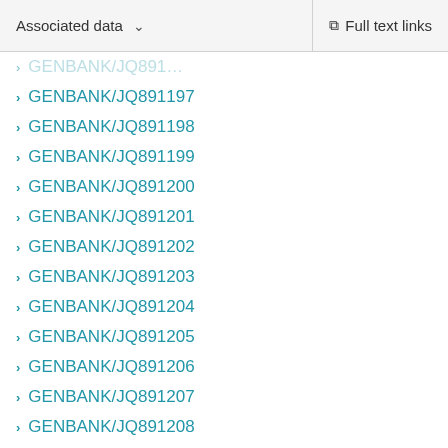Associated data | Full text links
GENBANK/JQ891197
GENBANK/JQ891198
GENBANK/JQ891199
GENBANK/JQ891200
GENBANK/JQ891201
GENBANK/JQ891202
GENBANK/JQ891203
GENBANK/JQ891204
GENBANK/JQ891205
GENBANK/JQ891206
GENBANK/JQ891207
GENBANK/JQ891208
GENBANK/JQ891209
GENBANK/JQ891210